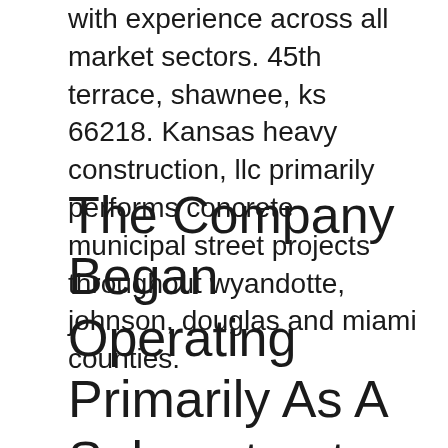with experience across all market sectors. 45th terrace, shawnee, ks 66218. Kansas heavy construction, llc primarily performs concrete municipal street projects throughout wyandotte, johnson, douglas and miami counties.
The Company Began Operating Primarily As A Subcontractor Performing Concrete Related Items On Municipal Street Projects Throughout Wyandotte, Johnson, Douglas And Miami